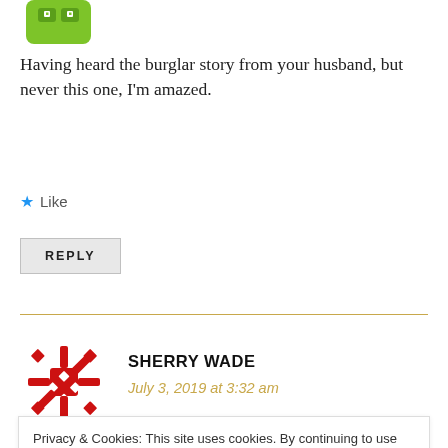[Figure (illustration): Partial green robot/avatar icon at top left]
Having heard the burglar story from your husband, but never this one, I'm amazed.
★ Like
REPLY
[Figure (illustration): Red decorative snowflake/star avatar for Sherry Wade]
SHERRY WADE
July 3, 2019 at 3:32 am
Privacy & Cookies: This site uses cookies. By continuing to use this website, you agree to their use.
To find out more, including how to control cookies, see here: Cookie Policy
Close and accept
to tell my favorite story about her. But, it was the only